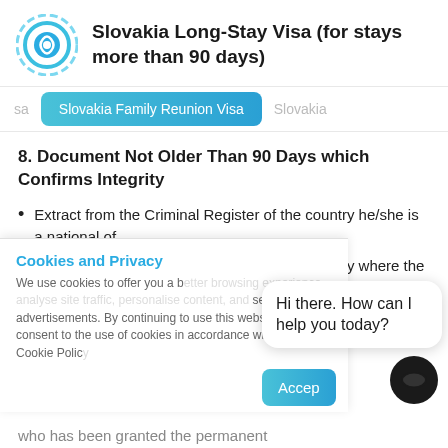Slovakia Long-Stay Visa (for stays more than 90 days)
sa   Slovakia Family Reunion Visa   Slovakia
8. Document Not Older Than 90 Days which Confirms Integrity
Extract from the Criminal Register of the country he/she is a national of
Extract from the Criminal Register of the country where the third-country national has resided during the last three years for the
Cookies and Privacy
We use cookies to offer you a better browsing experience, analyse site traffic, personalise content, and serve targeted advertisements. By continuing to use this website, you consent to the use of cookies in accordance with our Cookie Policy
Hi there. How can I help you today?
who has been granted the permanent